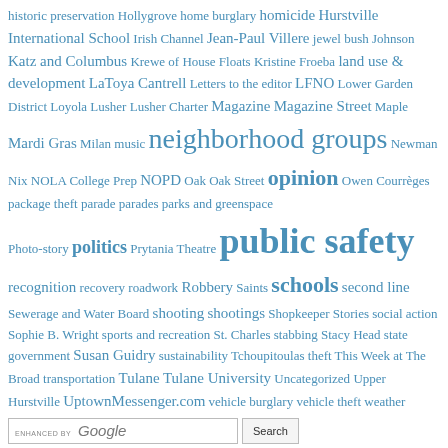historic preservation Hollygrove home burglary homicide Hurstville International School Irish Channel Jean-Paul Villere jewel bush Johnson Katz and Columbus Krewe of House Floats Kristine Froeba land use & development LaToya Cantrell Letters to the editor LFNO Lower Garden District Loyola Lusher Lusher Charter Magazine Magazine Street Maple Mardi Gras Milan music neighborhood groups Newman Nix NOLA College Prep NOPD Oak Oak Street opinion Owen Courrèges package theft parade parades parks and greenspace Photo-story politics Prytania Theatre public safety recognition recovery roadwork Robbery Saints schools second line Sewerage and Water Board shooting shootings Shopkeeper Stories social action Sophie B. Wright sports and recreation St. Charles stabbing Stacy Head state government Susan Guidry sustainability Tchoupitoulas theft This Week at The Broad transportation Tulane Tulane University Uncategorized Upper Hurstville UptownMessenger.com vehicle burglary vehicle theft weather
[Figure (other): Google search bar with 'ENHANCED BY Google' label and a Search button]